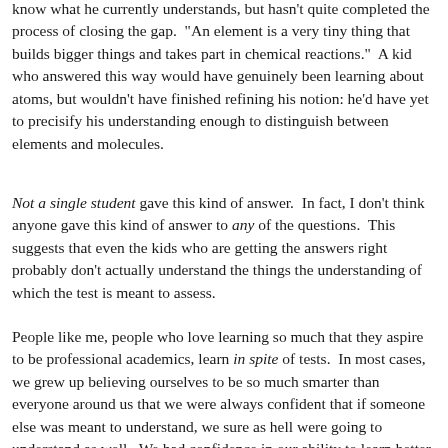know what he currently understands, but hasn't quite completed the process of closing the gap.  "An element is a very tiny thing that builds bigger things and takes part in chemical reactions."  A kid who answered this way would have genuinely been learning about atoms, but wouldn't have finished refining his notion: he'd have yet to precisify his understanding enough to distinguish between elements and molecules.
Not a single student gave this kind of answer.  In fact, I don't think anyone gave this kind of answer to any of the questions.  This suggests that even the kids who are getting the answers right probably don't actually understand the things the understanding of which the test is meant to assess.
People like me, people who love learning so much that they aspire to be professional academics, learn in spite of tests.  In most cases, we grew up believing ourselves to be so much smarter than everyone around us that we were always confident that if someone else was meant to understand, we sure as hell were going to understand as well.  We had confidence in our ability to learn better and faster than